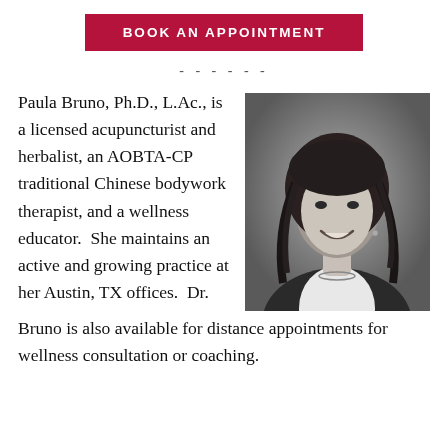BOOK AN APPOINTMENT
- - - - - -
Paula Bruno, Ph.D., L.Ac., is a licensed acupuncturist and herbalist, an AOBTA-CP traditional Chinese bodywork therapist, and a wellness educator. She maintains an active and growing practice at her Austin, TX offices. Dr. Bruno is also available for distance appointments for wellness consultation or coaching.
[Figure (photo): Black and white portrait photo of Paula Bruno, a woman with curly dark hair, smiling, wearing a white shirt and dark jacket with a necklace.]